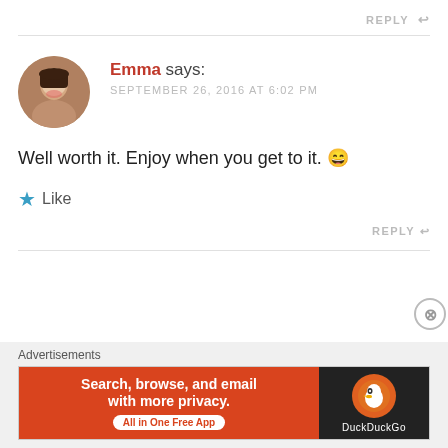REPLY ↩
Emma says:
SEPTEMBER 26, 2016 AT 6:02 PM
Well worth it. Enjoy when you get to it. 😄
★ Like
REPLY ↩
Advertisements
[Figure (screenshot): DuckDuckGo advertisement banner: orange background with text 'Search, browse, and email with more privacy. All in One Free App' on left, DuckDuckGo logo on dark right panel]